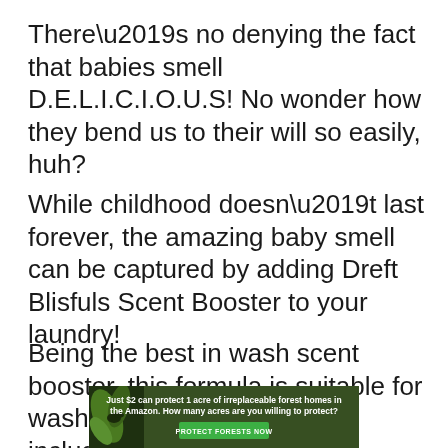There’s no denying the fact that babies smell D.E.L.I.C.I.O.U.S! No wonder how they bend us to their will so easily, huh?
While childhood doesn’t last forever, the amazing baby smell can be captured by adding Dreft Blisfuls Scent Booster to your laundry!
Being the best in wash scent booster, this formula is suitable for washing all types of fabrics including baby clothes
[Figure (infographic): Green advertisement banner with forest background and leaf image. Text reads: Just $2 can protect 1 acre of irreplaceable forest homes in the Amazon. How many acres are you willing to protect? With a green PROTECT FORESTS NOW button.]